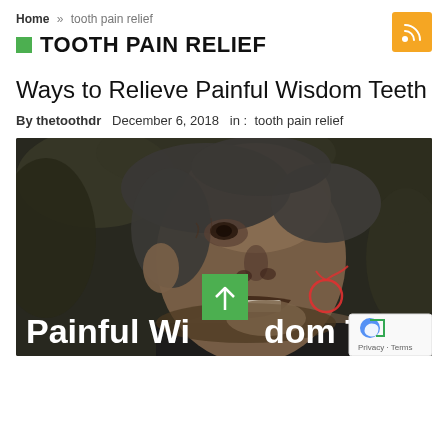Home » tooth pain relief
TOOTH PAIN RELIEF
Ways to Relieve Painful Wisdom Teeth
By thetoothdr  December 6, 2018  in :  tooth pain relief
[Figure (photo): Black and white photo of an older man grimacing in pain, touching his jaw. Text overlay reads 'Painful Wisdom Teeth'. There is a red circle annotation on his jaw area, a green scroll-to-top button, and a Google reCAPTCHA badge.]